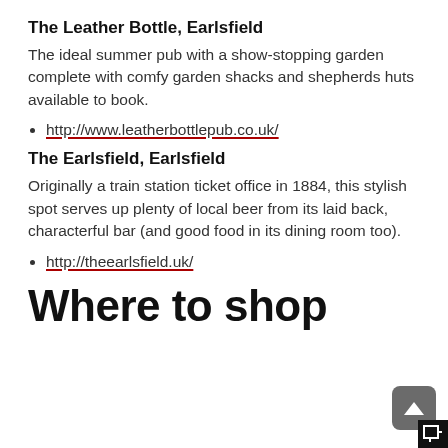The Leather Bottle, Earlsfield
The ideal summer pub with a show-stopping garden complete with comfy garden shacks and shepherds huts available to book.
http://www.leatherbottlepub.co.uk/
The Earlsfield, Earlsfield
Originally a train station ticket office in 1884, this stylish spot serves up plenty of local beer from its laid back, characterful bar (and good food in its dining room too).
http://theearlsfield.uk/
Where to shop